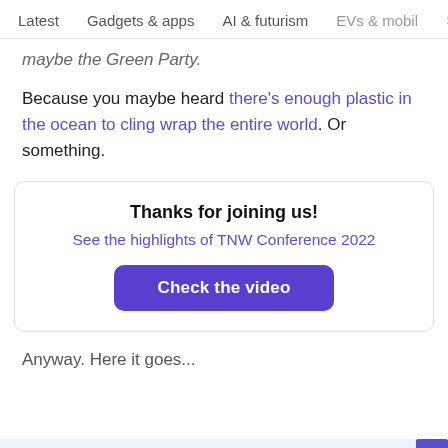Latest   Gadgets & apps   AI & futurism   EVs & mobil  >
maybe the Green Party.
Because you maybe heard there's enough plastic in the ocean to cling wrap the entire world. Or something.
Thanks for joining us!
See the highlights of TNW Conference 2022
Check the video
Anyway. Here it goes...